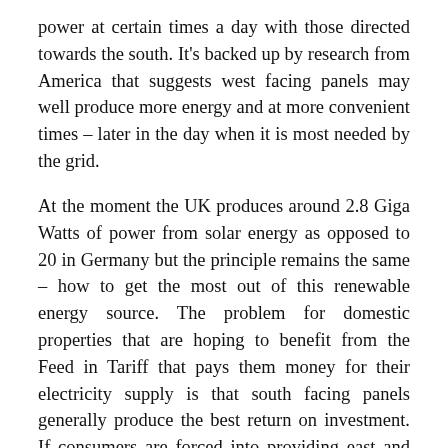power at certain times a day with those directed towards the south. It's backed up by research from America that suggests west facing panels may well produce more energy and at more convenient times – later in the day when it is most needed by the grid.
At the moment the UK produces around 2.8 Giga Watts of power from solar energy as opposed to 20 in Germany but the principle remains the same – how to get the most out of this renewable energy source. The problem for domestic properties that are hoping to benefit from the Feed in Tariff that pays them money for their electricity supply is that south facing panels generally produce the best return on investment. If consumers are forced into providing east and west facing installations, with a reduced return, they may well think twice about investing in solar in the future.
So the Bristol trial it seems, not that if comes as Manna...